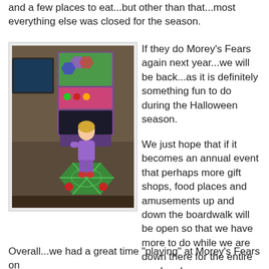and a few places to eat...but other than that...most everything else was closed for the season.
[Figure (photo): A young girl in a purple outfit standing on an octagonal arcade game platform shaped like a spider web, facing a colorful arcade machine. The setting appears to be an indoor arcade.]
If they do Morey's Fears again next year...we will be back...as it is definitely something fun to do during the Halloween season.

We just hope that if it becomes an annual event that perhaps more gift shops, food places and amusements up and down the boardwalk will be open so that we have more to do while we are down there for the entire weekend.
Overall...we had a great time "playing" at Morey's Fears on